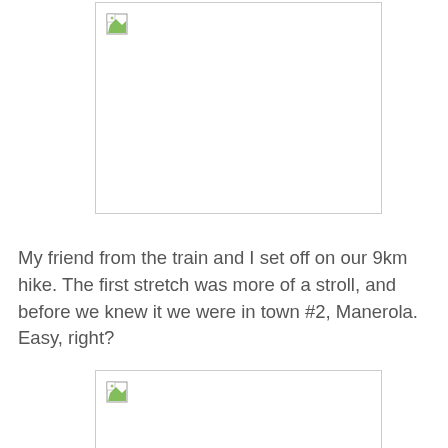[Figure (photo): Broken/unloaded image placeholder (first photo)]
My friend from the train and I set off on our 9km hike. The first stretch was more of a stroll, and before we knew it we were in town #2, Manerola. Easy, right?
[Figure (photo): Broken/unloaded image placeholder (second photo)]